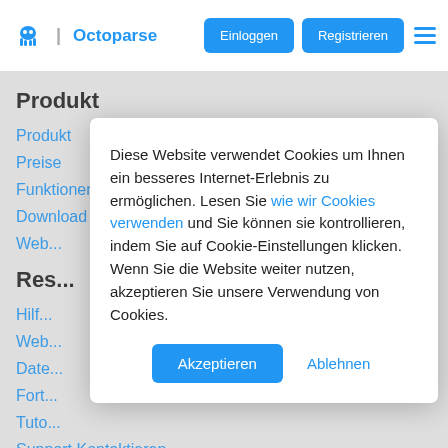Octoparse | Einloggen Registrieren
Produkt
Produkt
Preise
Funktionen
Download
Web...
Res...
Hilf...
Web...
Date...
Fort...
Tuto...
Support Kontaktieren
Diese Website verwendet Cookies um Ihnen ein besseres Internet-Erlebnis zu ermöglichen. Lesen Sie wie wir Cookies verwenden und Sie können sie kontrollieren, indem Sie auf Cookie-Einstellungen klicken. Wenn Sie die Website weiter nutzen, akzeptieren Sie unsere Verwendung von Cookies.
Akzeptieren
Ablehnen